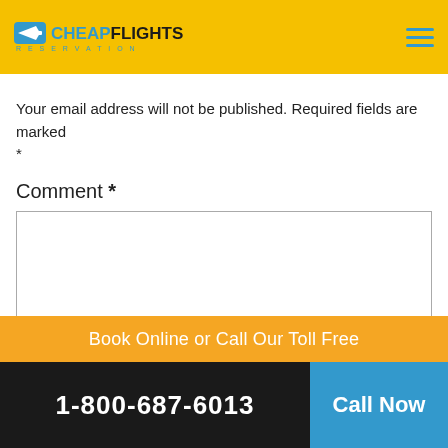CheapFlights Reservation
Your email address will not be published. Required fields are marked *
Comment *
[Figure (screenshot): Empty comment text area input box]
Book Online or Call Our Toll Free 1-800-687-6013 Call Now